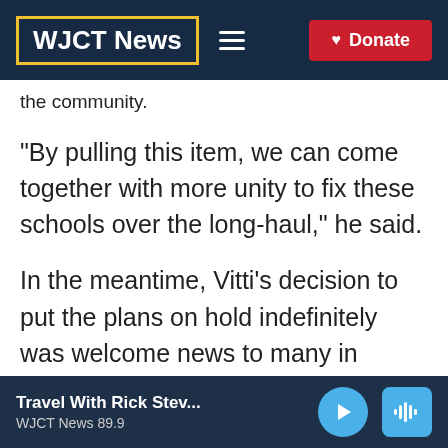WJCT News
the community.
"By pulling this item, we can come together with more unity to fix these schools over the long-haul," he said.
In the meantime, Vitti's decision to put the plans on hold indefinitely was welcome news to many in attendance, including members of the Baptist Ministers Conference of Duval and Adjacent Counties.
Travel With Rick Stev... WJCT News 89.9